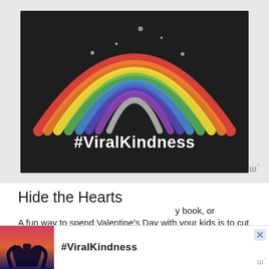[Figure (photo): Chalk rainbow art on dark asphalt with white text reading #ViralKindness overlaid at the bottom center of the image]
Hide the Hearts
A fun way to spend Valentine's Day with your kids is to cut out hearts from red and pink construction paper and hide them all over the house. Have your kids close their eyes or stay in another room while you tuck them behind cushions and under beds, and then let them try to find them. Reward the kiddo who finds the most hearts with a special treat, a new book, or you
[Figure (photo): Advertisement banner showing silhouette of hands making a heart shape with #ViralKindness text, with close button and ww° logo]